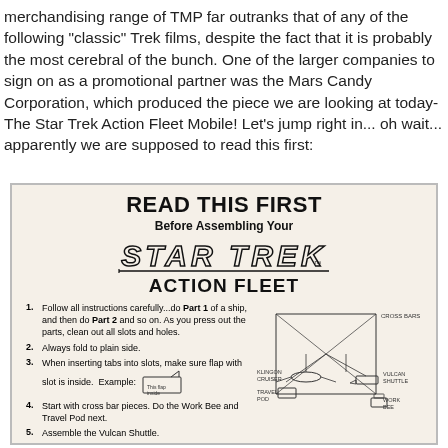merchandising range of TMP far outranks that of any of the following "classic" Trek films, despite the fact that it is probably the most cerebral of the bunch. One of the larger companies to sign on as a promotional partner was the Mars Candy Corporation, which produced the piece we are looking at today- The Star Trek Action Fleet Mobile! Let's jump right in... oh wait... apparently we are supposed to read this first:
[Figure (illustration): Scanned instruction sheet titled 'READ THIS FIRST Before Assembling Your STAR TREK ACTION FLEET'. Contains numbered assembly instructions and a diagram showing Cross Bars, Klingon Cruiser, Vulcan Shuttle, Travel Pod, and Work Bee spacecraft.]